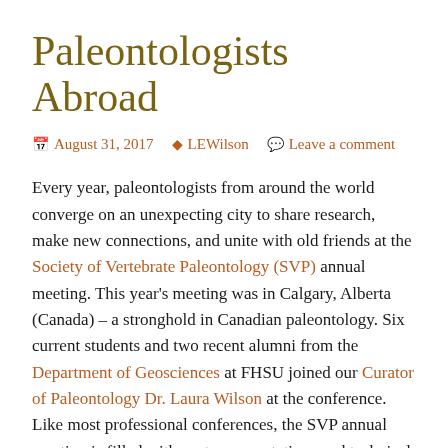Paleontologists Abroad
August 31, 2017  LEWilson  Leave a comment
Every year, paleontologists from around the world converge on an unexpecting city to share research, make new connections, and unite with old friends at the Society of Vertebrate Paleontology (SVP) annual meeting. This year’s meeting was in Calgary, Alberta (Canada) – a stronghold in Canadian paleontology. Six current students and two recent alumni from the Department of Geosciences at FHSU joined our Curator of Paleontology Dr. Laura Wilson at the conference. Like most professional conferences, the SVP annual meeting is filled with poster presentations and technical talks, workshops and field trips, exhibitors showcasing the latest